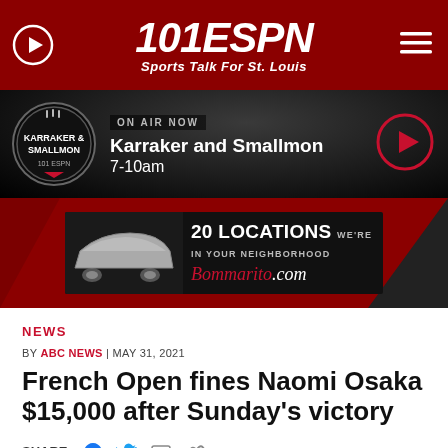[Figure (logo): 101 ESPN Sports Talk For St. Louis logo with play button and hamburger menu]
[Figure (infographic): On Air Now: Karraker and Smallmon, 7-10am, with show logo and play button]
[Figure (photo): Bommarito.com advertisement banner: 20 LOCATIONS WE'RE IN YOUR NEIGHBORHOOD with car image]
NEWS
BY ABC NEWS | MAY 31, 2021
French Open fines Naomi Osaka $15,000 after Sunday's victory
SHARE: